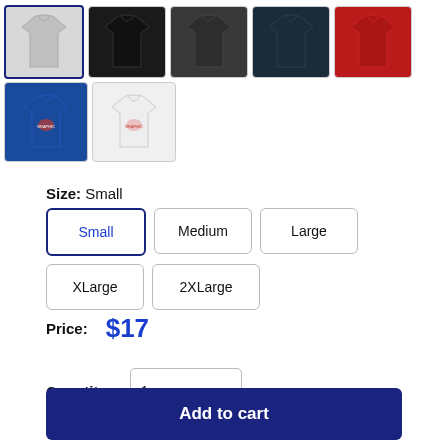[Figure (photo): Row of 5 tank top color thumbnails: gray (selected/highlighted), black, dark gray, navy, red]
[Figure (photo): Row of 2 tank top color thumbnails: blue with graphic, white with graphic]
Size: Small
Small (selected)
Medium
Large
XLarge
2XLarge
Price: $17
Quantity: 1
Add to cart